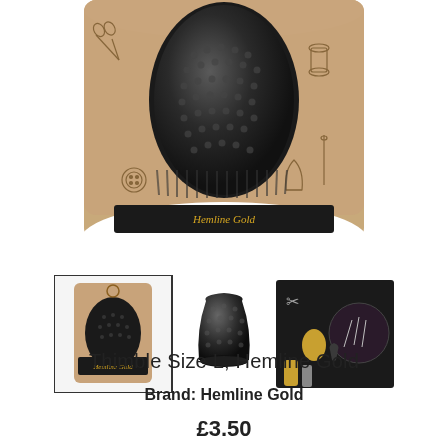[Figure (photo): Main product image: a black metallic thimble in a kraft paper pillow box packaging with sewing-themed illustrations (scissors, thread, buttons, needles). The top of the thimble is visible through a window in the packaging.]
[Figure (photo): Three thumbnail images: (1) Hemline Gold thimble in kraft packaging with a border, (2) Close-up of the black dimpled metal thimble alone, (3) Lifestyle photo of sewing accessories including thimbles, needles and thread on a dark background.]
Thimble Size L, Hemline Gold
Brand: Hemline Gold
£3.50